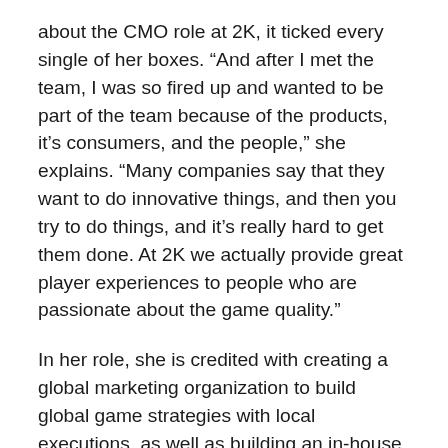about the CMO role at 2K, it ticked every single of her boxes. “And after I met the team, I was so fired up and wanted to be part of the team because of the products, it’s consumers, and the people,” she explains. “Many companies say that they want to do innovative things, and then you try to do things, and it’s really hard to get them done. At 2K we actually provide great player experiences to people who are passionate about the game quality.”
In her role, she is credited with creating a global marketing organization to build global game strategies with local executions, as well as building an in-house creative team.